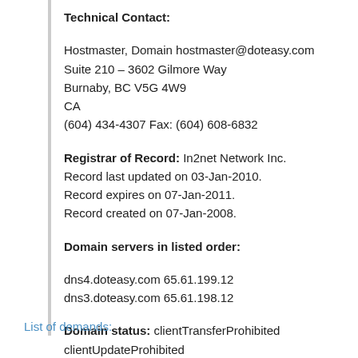Technical Contact:
Hostmaster, Domain hostmaster@doteasy.com
Suite 210 – 3602 Gilmore Way
Burnaby, BC V5G 4W9
CA
(604) 434-4307 Fax: (604) 608-6832
Registrar of Record: In2net Network Inc.
Record last updated on 03-Jan-2010.
Record expires on 07-Jan-2011.
Record created on 07-Jan-2008.
Domain servers in listed order:
dns4.doteasy.com 65.61.199.12
dns3.doteasy.com 65.61.198.12
Domain status: clientTransferProhibited
clientUpdateProhibited
List of demands: